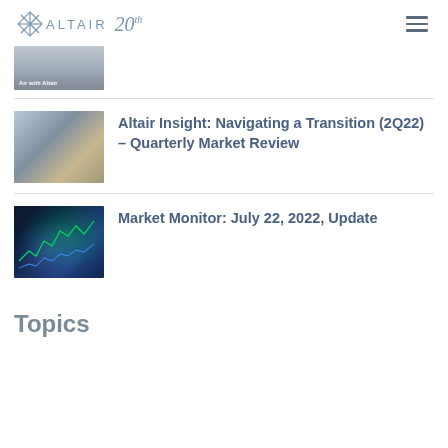Altair 20
[Figure (photo): Thumbnail image with label 'Air with Altair' showing a laptop]
[Figure (photo): Street scene thumbnail for Altair Insight article]
Altair Insight: Navigating a Transition (2Q22) – Quarterly Market Review
[Figure (photo): Financial market data screen thumbnail for Market Monitor article]
Market Monitor: July 22, 2022, Update
Topics